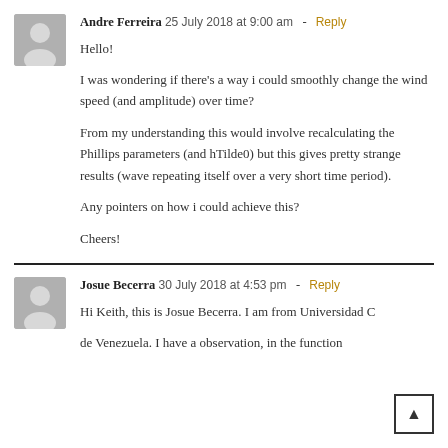Andre Ferreira 25 July 2018 at 9:00 am - Reply
Hello!

I was wondering if there's a way i could smoothly change the wind speed (and amplitude) over time?
From my understanding this would involve recalculating the Phillips parameters (and hTilde0) but this gives pretty strange results (wave repeating itself over a very short time period).

Any pointers on how i could achieve this?

Cheers!
Josue Becerra 30 July 2018 at 4:53 pm - Reply
Hi Keith, this is Josue Becerra. I am from Universidad C de Venezuela. I have a observation, in the function